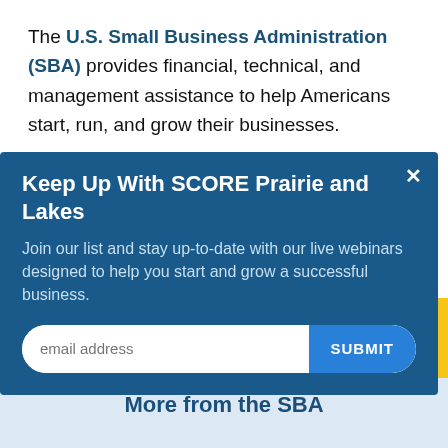The U.S. Small Business Administration (SBA) provides financial, technical, and management assistance to help Americans start, run, and grow their businesses.
[Figure (screenshot): Modal popup overlay with dark blue background containing 'Keep Up With SCORE Prairie and Lakes' heading, descriptive text about joining a list for live webinars, an email address input field, and a SUBMIT button.]
More from the SBA